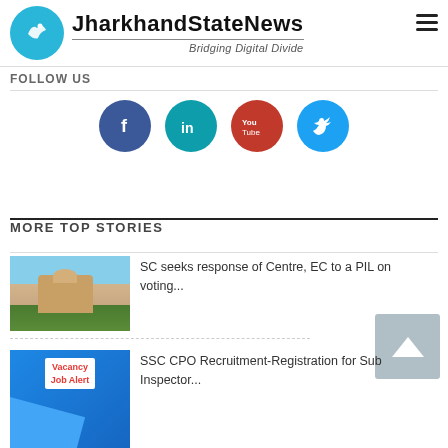[Figure (logo): JharkhandStateNews logo with blue circle containing white bird/map icon, site name, divider line, and tagline 'Bridging Digital Divide']
FOLLOW US
[Figure (infographic): Row of four social media circular icons: Facebook (dark blue, 'f'), LinkedIn (teal, 'in'), YouTube (red, 'You Tube'), Twitter (light blue, bird)]
MORE TOP STORIES
[Figure (photo): Thumbnail photo of Supreme Court building with domed structure and trees]
SC seeks response of Centre, EC to a PIL on voting...
[Figure (photo): Thumbnail with blue background and red/white 'Vacancy Job Alert' text]
SSC CPO Recruitment-Registration for Sub Inspector...